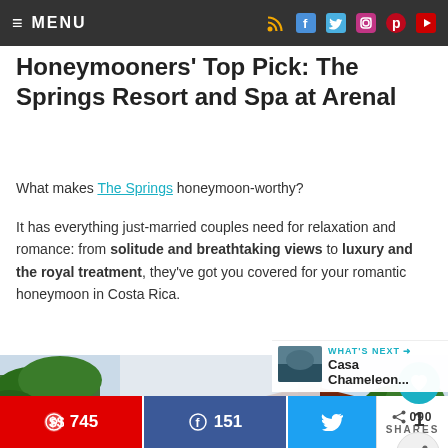≡ MENU
Honeymooners' Top Pick: The Springs Resort and Spa at Arenal
What makes The Springs honeymoon-worthy?
It has everything just-married couples need for relaxation and romance: from solitude and breathtaking views to luxury and the royal treatment, they've got you covered for your romantic honeymoon in Costa Rica.
[Figure (photo): Exterior view of The Springs Resort and Spa at Arenal with palm trees and ornate wooden building architecture]
WHAT'S NEXT → Casa Chameleon...
Pinterest 745 | Facebook 151 | Twitter | 090 SHARES